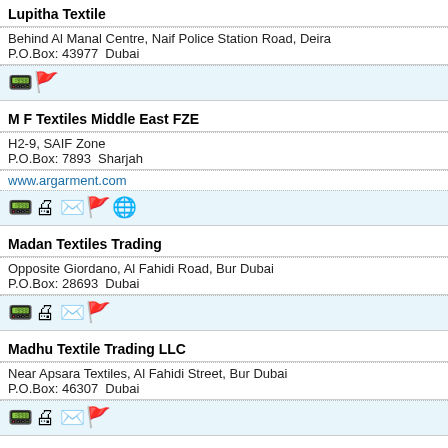Lupitha Textile
Behind Al Manal Centre, Naif Police Station Road, Deira
P.O.Box: 43977  Dubai
[Figure (other): Icons: phone, flag]
M F Textiles Middle East FZE
H2-9, SAIF Zone
P.O.Box: 7893  Sharjah
www.argarment.com
[Figure (other): Icons: phone, fax, email, flag, globe]
Madan Textiles Trading
Opposite Giordano, Al Fahidi Road, Bur Dubai
P.O.Box: 28693  Dubai
[Figure (other): Icons: phone, fax, email, flag]
Madhu Textile Trading LLC
Near Apsara Textiles, Al Fahidi Street, Bur Dubai
P.O.Box: 46307  Dubai
[Figure (other): Icons: phone, fax, email, flag]